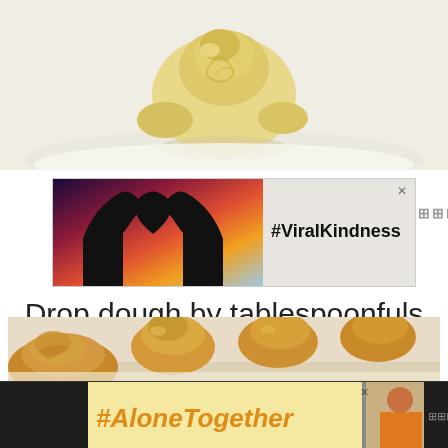[Figure (photo): Close-up photo of a raw dough ball on a light surface, showing piped or shaped unbaked dough with a pale yellow color]
[Figure (photo): Advertisement banner showing silhouetted hands forming a heart shape against a colorful sunset sky background, with text #ViralKindness]
Drop dough by tablespoonfuls onto a baking sheet.
[Figure (photo): Photo of multiple golden-brown baked cream puffs or profiteroles on a baking sheet lined with parchment paper]
[Figure (photo): Advertisement banner with pale yellow background showing text #AloneTogether in orange bold italic font, with image of a woman at a table on the right side]